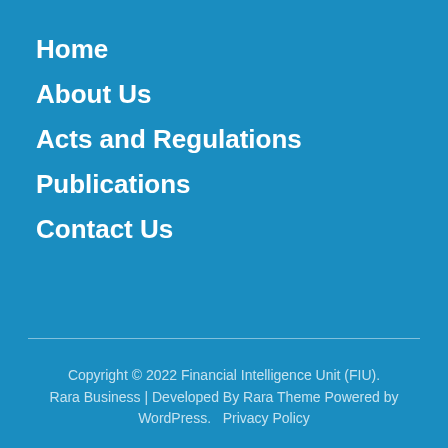Home
About Us
Acts and Regulations
Publications
Contact Us
Copyright © 2022 Financial Intelligence Unit (FIU). Rara Business | Developed By Rara Theme Powered by WordPress.   Privacy Policy